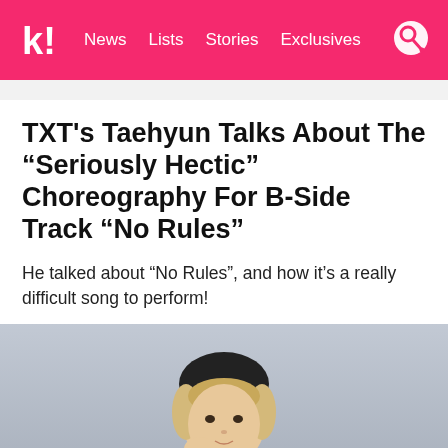k! News  Lists  Stories  Exclusives
TXT's Taehyun Talks About The “Seriously Hectic” Choreography For B-Side Track “No Rules”
He talked about “No Rules”, and how it’s a really difficult song to perform!
[Figure (photo): Portrait photo of TXT member Taehyun with blonde hair wearing a black top, photographed against a light blue-grey background]